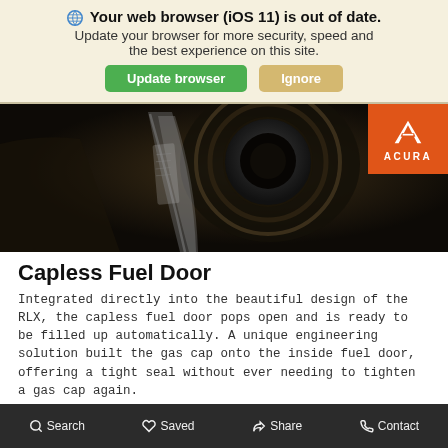🌐 Your web browser (iOS 11) is out of date. Update your browser for more security, speed and the best experience on this site.
Update browser | Ignore
[Figure (photo): Close-up photo of a capless fuel door on a dark-colored Acura RLX, with the Acura logo badge in orange in the top-right corner]
Capless Fuel Door
Integrated directly into the beautiful design of the RLX, the capless fuel door pops open and is ready to be filled up automatically. A unique engineering solution built the gas cap onto the inside fuel door, offering a tight seal without ever needing to tighten a gas cap again.
Search  Saved  Share  Contact